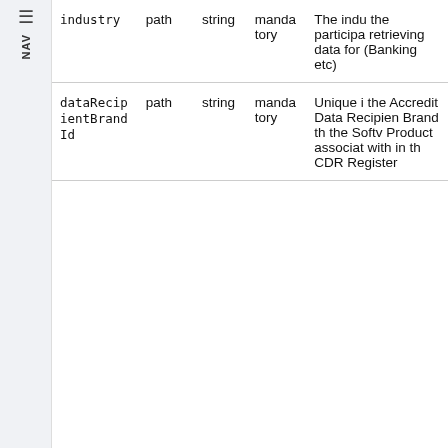| Name | In | Type | Required | Description |
| --- | --- | --- | --- | --- |
| industry | path | string | mandatory | The indu the participa retrieving data for (Banking etc) |
| dataRecipientBrandId | path | string | mandatory | Unique i the Accredit Data Recipien Brand th the Softv Product associat with in th CDR Register |